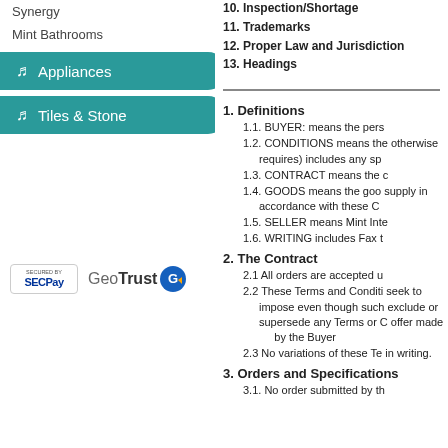Synergy
Mint Bathrooms
Appliances
Tiles & Stone
[Figure (logo): Secured by SECPay and GeoTrust logos]
10. Inspection/Shortage
11. Trademarks
12. Proper Law and Jurisdiction
13. Headings
1. Definitions
1.1. BUYER: means the pers
1.2. CONDITIONS means the otherwise
    requires) includes any sp
1.3. CONTRACT means the c
1.4. GOODS means the goo supply in
    accordance with these C
1.5. SELLER means Mint Inte
1.6. WRITING includes Fax t
2. The Contract
2.1 All orders are accepted u
2.2 These Terms and Conditi seek to
    impose even though such exclude or
    supersede any Terms or C offer made      by the Buyer
2.3 No variations of these Te in writing.
3. Orders and Specifications
3.1. No order submitted by th